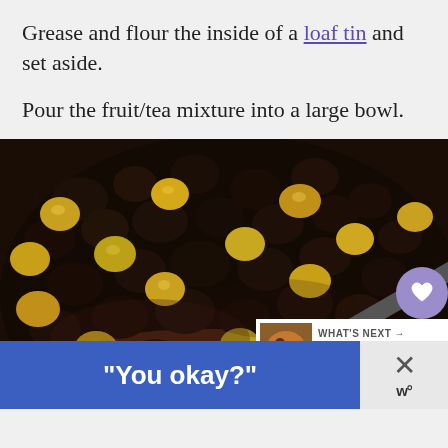Grease and flour the inside of a loaf tin and set aside.
Pour the fruit/tea mixture into a large bowl.
[Figure (photo): Close-up photo of a bowl filled with mixed dried fruits including dark raisins and golden sultanas in a dark liquid/syrup, showing a fruit and tea mixture for baking. The image has overlay UI elements: a heart/favorite button, a share button, a 'What's Next' panel showing a chocolate chip banana recipe thumbnail, a blue advertisement bar at the bottom reading "You okay?" with a close button.]